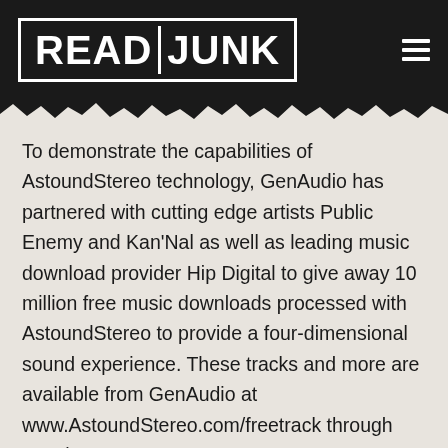READ JUNK
To demonstrate the capabilities of AstoundStereo technology, GenAudio has partnered with cutting edge artists Public Enemy and Kan'Nal as well as leading music download provider Hip Digital to give away 10 million free music downloads processed with AstoundStereo to provide a four-dimensional sound experience. These tracks and more are available from GenAudio at www.AstoundStereo.com/freetrack through March 5, 2009.
“When people hear these songs, they will have a new appreciation for the way audio will be heard across the entire entertainment industry spectrum.” said Jerry Mahabub, Chairman and Chief Executive Officer of